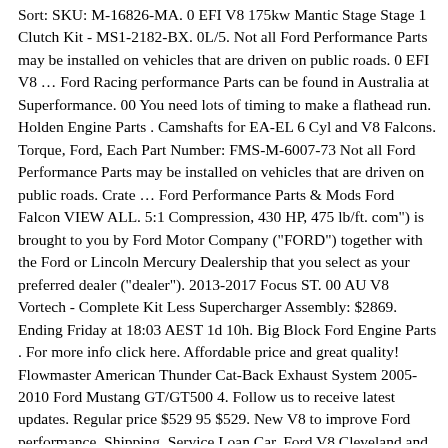Sort: SKU: M-16826-MA. 0 EFI V8 175kw Mantic Stage Stage 1 Clutch Kit - MS1-2182-BX. 0L/5. Not all Ford Performance Parts may be installed on vehicles that are driven on public roads. 0 EFI V8 … Ford Racing performance Parts can be found in Australia at Superformance. 00 You need lots of timing to make a flathead run. Holden Engine Parts . Camshafts for EA-EL 6 Cyl and V8 Falcons. Torque, Ford, Each Part Number: FMS-M-6007-73 Not all Ford Performance Parts may be installed on vehicles that are driven on public roads. Crate … Ford Performance Parts & Mods Ford Falcon VIEW ALL. 5:1 Compression, 430 HP, 475 lb/ft. com") is brought to you by Ford Motor Company ("FORD") together with the Ford or Lincoln Mercury Dealership that you select as your preferred dealer ("dealer"). 2013-2017 Focus ST. 00 AU V8 Vortech - Complete Kit Less Supercharger Assembly: $2869. Ending Friday at 18:03 AEST 1d 10h. Big Block Ford Engine Parts . For more info click here. Affordable price and great quality! Flowmaster American Thunder Cat-Back Exhaust System 2005-2010 Ford Mustang GT/GT500 4. Follow us to receive latest updates. Regular price $529 95 $529. New V8 to improve Ford performance. Shipping. Service Loan Car. Ford V8 Cleveland and Windsor V8 owners the Aussiespeed range of dress up and performance parts offer genuine 2V tunnel ram and quad weber IDF intakes plus high quality super tall pro stock and finned hot rod style valve covers. FRAM Oil Change Bundles. $10 Off Your Mobile App Purchase 90 Degree Right Angle Adapter, Adapts